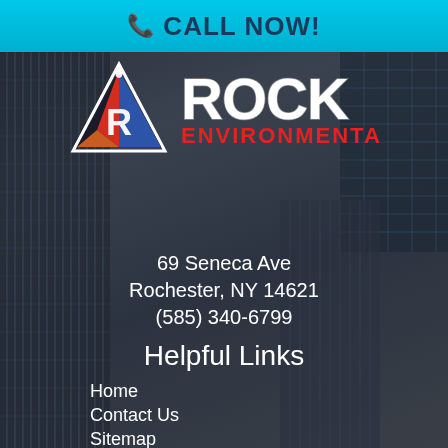📞 CALL NOW!
[Figure (logo): Rock Environmental logo: triangle icon with fire/water imagery and R letter, plus ROCK ENVIRONMENTAL text logo]
69 Seneca Ave
Rochester, NY 14621
(585) 340-6799
Helpful Links
Home
Contact Us
Sitemap